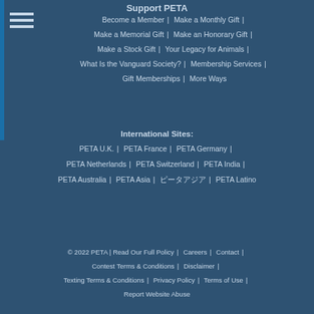Support PETA
Become a Member | Make a Monthly Gift |
Make a Memorial Gift | Make an Honorary Gift |
Make a Stock Gift | Your Legacy for Animals |
What Is the Vanguard Society? | Membership Services |
Gift Memberships | More Ways
International Sites:
PETA U.K. | PETA France | PETA Germany |
PETA Netherlands | PETA Switzerland | PETA India |
PETA Australia | PETA Asia | ピーターアジア | PETA Latino
© 2022 PETA | Read Our Full Policy | Careers | Contact | Contest Terms & Conditions | Disclaimer | Texting Terms & Conditions | Privacy Policy | Terms of Use | Report Website Abuse